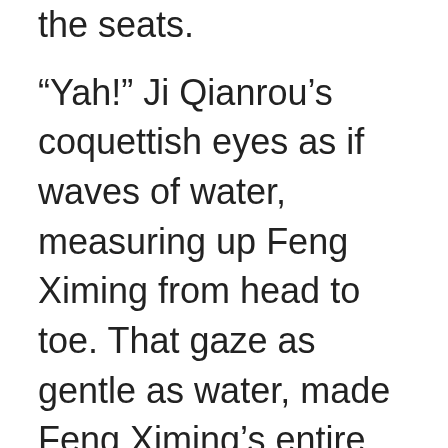the seats.
“Yah!” Ji Qianrou’s coquettish eyes as if waves of water, measuring up Feng Ximing from head to toe. That gaze as gentle as water, made Feng Ximing’s entire body feel numb. With his waist swinging, he walked toward Feng Zhiming with extreme amorousity, as he began to giggle tenderly: “So it was actually Little Mingming, no